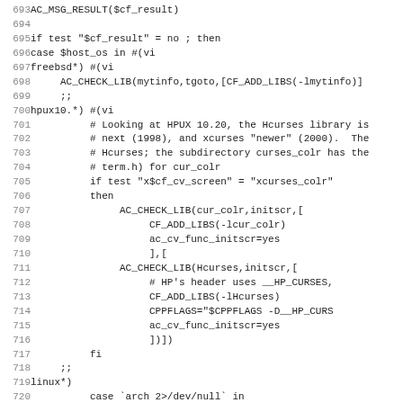[Figure (other): Source code listing showing shell script / autoconf code lines 693-725, with line numbers on the left and code on the right in monospace font.]